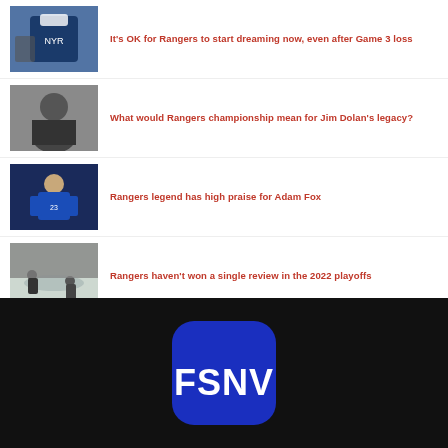It's OK for Rangers to start dreaming now, even after Game 3 loss
What would Rangers championship mean for Jim Dolan's legacy?
Rangers legend has high praise for Adam Fox
Rangers haven't won a single review in the 2022 playoffs
[Figure (logo): FSNV blue rounded-square app icon on black background]